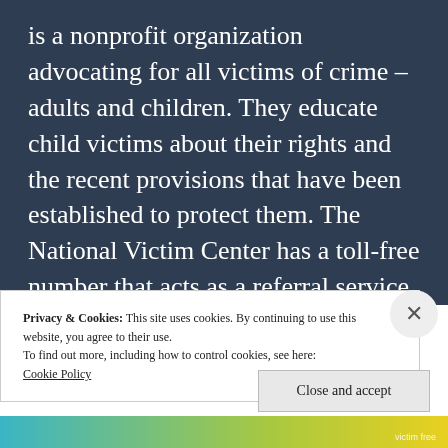is a nonprofit organization advocating for all victims of crime – adults and children. They educate child victims about their rights and the recent provisions that have been established to protect them. The National Victim Center has a toll-free number that acts as a referral service for children who have been exploited.
Privacy & Cookies: This site uses cookies. By continuing to use this website, you agree to their use.
To find out more, including how to control cookies, see here: Cookie Policy
Close and accept